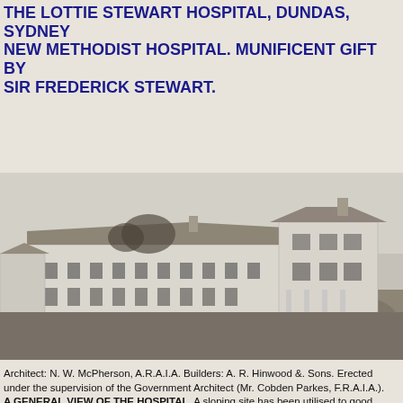THE LOTTIE STEWART HOSPITAL, DUNDAS, SYDNEY
NEW METHODIST HOSPITAL. MUNIFICENT GIFT BY SIR FREDERICK STEWART.
[Figure (photo): Black and white photograph of the Lottie Stewart Hospital building at Dundas, Sydney. A large two-storey white building with a sloping roof and multiple windows is shown on a sloping grassed site. Trees are visible in the background.]
Architect: N. W. McPherson, A.R.A.I.A. Builders: A. R. Hinwood &. Sons. Erected under the supervision of the Government Architect (Mr. Cobden Parkes, F.R.A.I.A.).
A GENERAL VIEW OF THE HOSPITAL. A sloping site has been utilised to good advantage, as will be apparent from this illustration, an additional storey being incorporated at the lower level. The spaciousness of the site is also apparent.